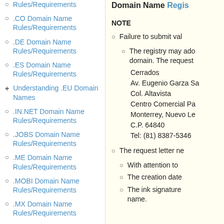Rules/Requirements
.CO Domain Name Rules/Requirements
.DE Domain Name Rules/Requirements
.ES Domain Name Rules/Requirements
Understanding .EU Domain Names
.IN.NET Domain Name Rules/Requirements
.JOBS Domain Name Rules/Requirements
.ME Domain Name Rules/Requirements
.MOBI Domain Name Rules/Requirements
.MX Domain Name Rules/Requirements
.NAME Domain Name Rules/Requirements
.NCO Domain Name...
Domain Name Regis
NOTE
Failure to submit val
The registry may ado domain. The request Cerrados Av. Eugenio Garza Sa Col. Altavista Centro Comercial Pa Monterrey, Nuevo Le C.P. 64840 Tel: (81) 8387-5346
The request letter ne
With attention to
The creation date
The ink signature name.